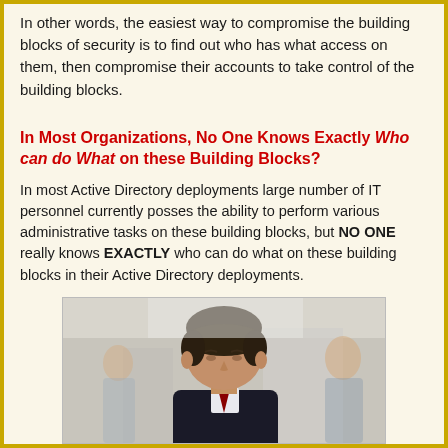In other words, the easiest way to compromise the building blocks of security is to find out who has what access on them, then compromise their accounts to take control of the building blocks.
In Most Organizations, No One Knows Exactly Who can do What on these Building Blocks?
In most Active Directory deployments large number of IT personnel currently posses the ability to perform various administrative tasks on these building blocks, but NO ONE really knows EXACTLY who can do what on these building blocks in their Active Directory deployments.
[Figure (photo): Photo of a man in a dark suit looking downward, with blurred background showing other people in an office setting]